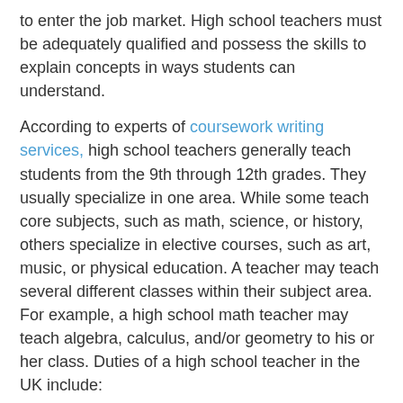to enter the job market. High school teachers must be adequately qualified and possess the skills to explain concepts in ways students can understand.
According to experts of coursework writing services, high school teachers generally teach students from the 9th through 12th grades. They usually specialize in one area. While some teach core subjects, such as math, science, or history, others specialize in elective courses, such as art, music, or physical education. A teacher may teach several different classes within their subject area. For example, a high school math teacher may teach algebra, calculus, and/or geometry to his or her class. Duties of a high school teacher in the UK include:
Planning lessons and guiding their students in the subject they teach
Assessing students abilities, strengths, and weaknesses
Adapting lessons to changes in class size
Grading students assignments and exams